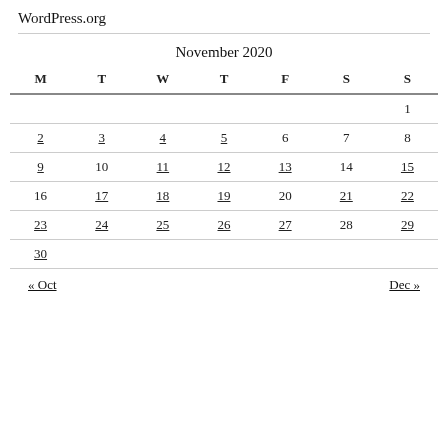WordPress.org
| M | T | W | T | F | S | S |
| --- | --- | --- | --- | --- | --- | --- |
|  |  |  |  |  |  | 1 |
| 2 | 3 | 4 | 5 | 6 | 7 | 8 |
| 9 | 10 | 11 | 12 | 13 | 14 | 15 |
| 16 | 17 | 18 | 19 | 20 | 21 | 22 |
| 23 | 24 | 25 | 26 | 27 | 28 | 29 |
| 30 |  |  |  |  |  |  |
« Oct    Dec »